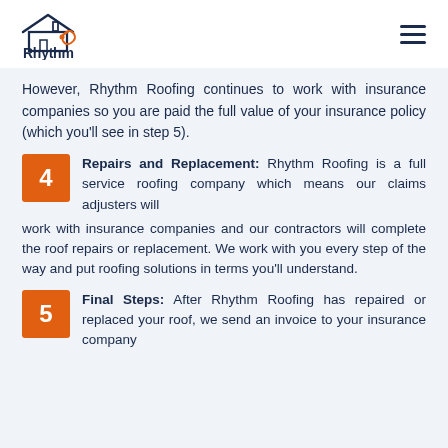[Figure (logo): Rhythm Roofing logo with house/roof icon and orange musical note element]
However, Rhythm Roofing continues to work with insurance companies so you are paid the full value of your insurance policy (which you'll see in step 5).
4 Repairs and Replacement: Rhythm Roofing is a full service roofing company which means our claims adjusters will work with insurance companies and our contractors will complete the roof repairs or replacement. We work with you every step of the way and put roofing solutions in terms you'll understand.
5 Final Steps: After Rhythm Roofing has repaired or replaced your roof, we send an invoice to your insurance company